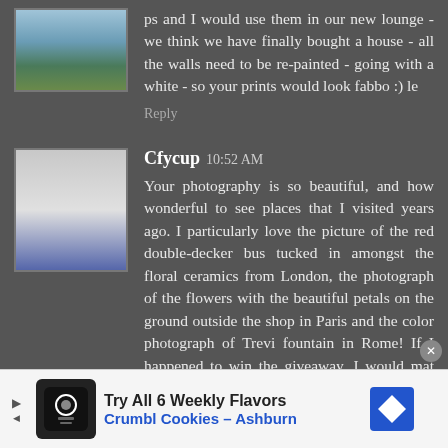ps and I would use them in our new lounge - we think we have finally bought a house - all the walls need to be re-painted - going with a white - so your prints would look fabbo :) le
Reply
Cfycup 10:52 AM
Your photography is so beautiful, and how wonderful to see places that I visited years ago. I particularly love the picture of the red double-decker bus tucked in amongst the floral ceramics from London, the photograph of the flowers with the beautiful petals on the ground outside the shop in Paris and the color photograph of Trevi fountain in Rome! If I happened to win the giveaway, I would mat and frame the photos and hang them in my di...
[Figure (screenshot): Advertisement banner for Crumbl Cookies - Ashburn with text 'Try All 6 Weekly Flavors']